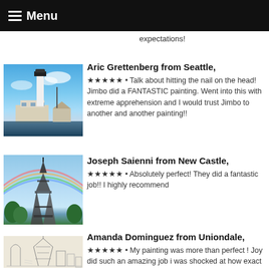Menu
expectations!
[Figure (photo): Lighthouse painting with white tower and houses against a blue sky]
Aric Grettenberg from Seattle,
★★★★★ • Talk about hitting the nail on the head! Jimbo did a FANTASTIC painting. Went into this with extreme apprehension and I would trust Jimbo to another and another painting!!
[Figure (photo): Painting of Eiffel Tower with rainbow in the sky and green trees]
Joseph Saienni from New Castle,
★★★★★ • Absolutely perfect! They did a fantastic job!! I highly recommend
[Figure (photo): Pencil sketch of Eiffel Tower and city buildings]
Amanda Dominguez from Uniondale,
★★★★★ • My painting was more than perfect ! Joy did such an amazing job i was shocked at how exact it came out it looks just like my picture but in a painting i will definitely be ordering another painting